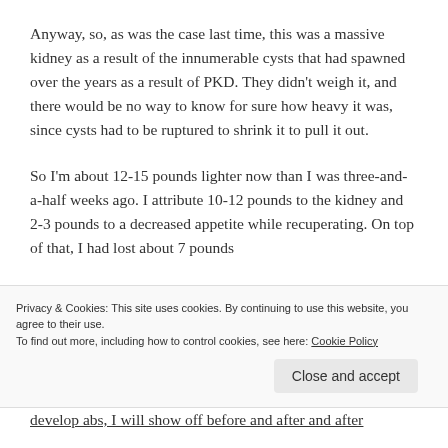Anyway, so, as was the case last time, this was a massive kidney as a result of the innumerable cysts that had spawned over the years as a result of PKD. They didn't weigh it, and there would be no way to know for sure how heavy it was, since cysts had to be ruptured to shrink it to pull it out.
So I'm about 12-15 pounds lighter now than I was three-and-a-half weeks ago. I attribute 10-12 pounds to the kidney and 2-3 pounds to a decreased appetite while recuperating. On top of that, I had lost about 7 pounds
Privacy & Cookies: This site uses cookies. By continuing to use this website, you agree to their use.
To find out more, including how to control cookies, see here: Cookie Policy
develop abs, I will show off before and after and after